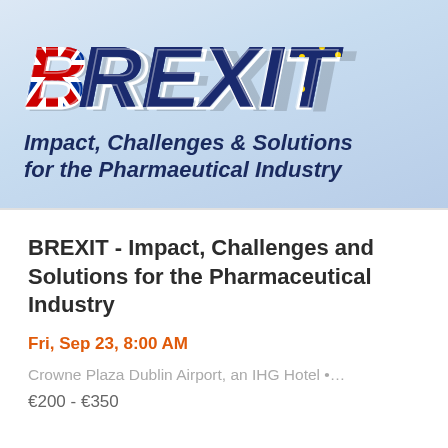[Figure (illustration): BREXIT banner graphic with 'BREXIT' text styled with Union Jack and EU flag patterns, over a light blue gradient background, with subtitle 'Impact, Challenges & Solutions for the Pharmaeutical Industry' in dark navy italic bold text.]
BREXIT - Impact, Challenges and Solutions for the Pharmaceutical Industry
Fri, Sep 23, 8:00 AM
Crowne Plaza Dublin Airport, an IHG Hotel •…
€200 - €350